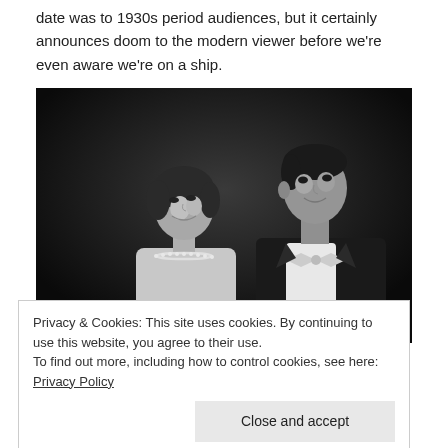date was to 1930s period audiences, but it certainly announces doom to the modern viewer before we're even aware we're on a ship.
[Figure (photo): Black and white film still showing a woman and man in formal evening wear, looking at each other. The woman wears a pearl necklace and the man wears a tuxedo with bow tie.]
Privacy & Cookies: This site uses cookies. By continuing to use this website, you agree to their use.
To find out more, including how to control cookies, see here: Privacy Policy
[Close and accept]
“Wouldn’t it be awful if a magician came to us and said